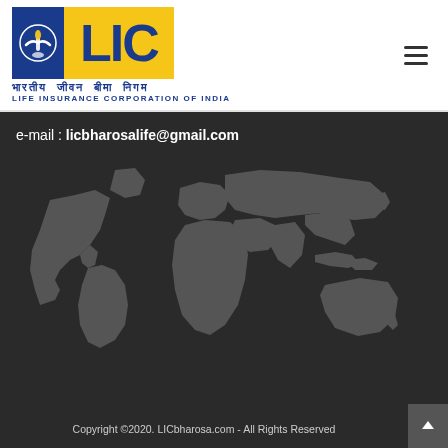[Figure (logo): LIC - Life Insurance Corporation of India logo with blue and yellow colors, showing hands symbol and Hindi/English text below]
e-mail : licbharosalife@gmail.com
[Figure (map): World map silhouette in grey on dark background]
Copyright © 2020. LICbharosa.com - All Rights Reserved